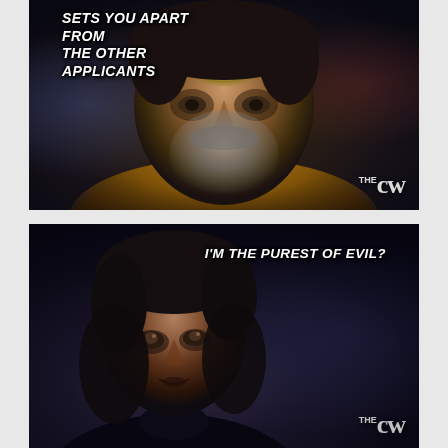[Figure (screenshot): TV screenshot from CW network showing a bearded man with ornate forehead marking wearing gold-decorated costume, with subtitle text at top left]
SETS YOU APART FROM THE OTHER APPLICANTS
[Figure (screenshot): TV screenshot from CW network showing a young dark-haired woman looking up with a surprised expression, dark background]
I'M THE PUREST OF EVIL?